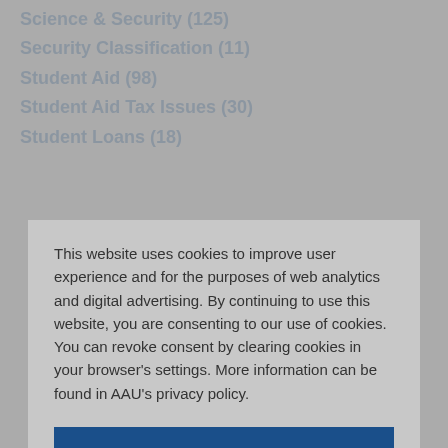Science & Security (125)
Security Classification (11)
Student Aid (98)
Student Aid Tax Issues (30)
Student Loans (18)
This website uses cookies to improve user experience and for the purposes of web analytics and digital advertising. By continuing to use this website, you are consenting to our use of cookies. You can revoke consent by clearing cookies in your browser's settings. More information can be found in AAU's privacy policy.
COOKIE SETTINGS
ACCEPT ALL